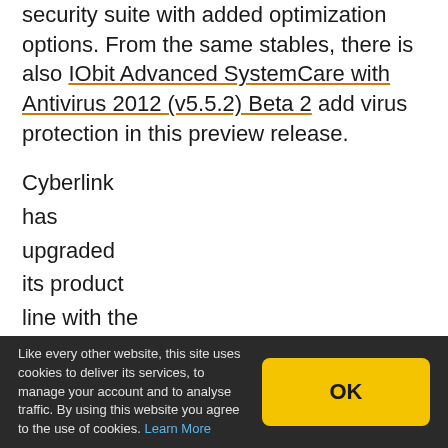security suite with added optimization options. From the same stables, there is also IObit Advanced SystemCare with Antivirus 2012 (v5.5.2) Beta 2 add virus protection in this preview release.
Cyberlink
has
upgraded
its product
line with the
release of
CyberLink
Like every other website, this site uses cookies to deliver its services, to manage your account and to analyse traffic. By using this website you agree to the use of cookies. Learn More